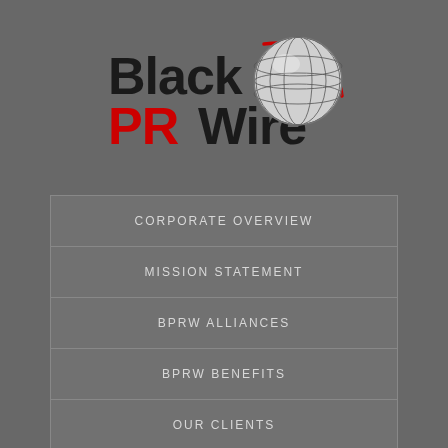[Figure (logo): Black PR Wire logo with globe graphic and red swoosh]
CORPORATE OVERVIEW
MISSION STATEMENT
BPRW ALLIANCES
BPRW BENEFITS
OUR CLIENTS